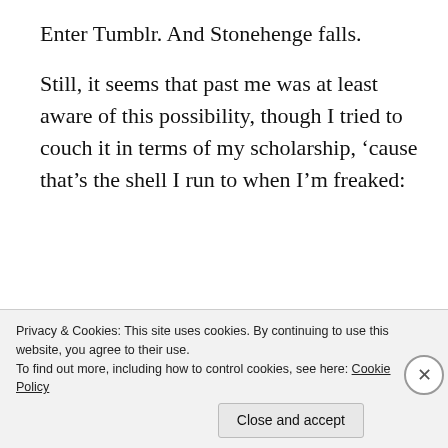Enter Tumblr. And Stonehenge falls.
Still, it seems that past me was at least aware of this possibility, though I tried to couch it in terms of my scholarship, ‘cause that’s the shell I run to when I’m freaked:
Maybe it’s just temporary. Maybe it’ll be like my once avowed opposition to J2… a taboo that flew by the wayside
Privacy & Cookies: This site uses cookies. By continuing to use this website, you agree to their use.
To find out more, including how to control cookies, see here: Cookie Policy
Close and accept